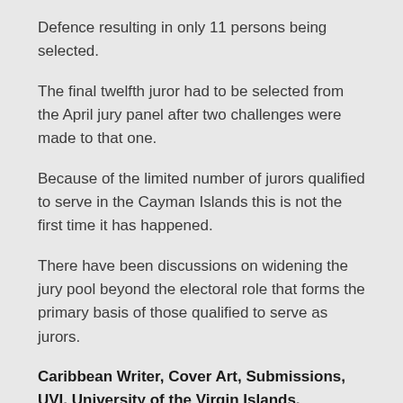Defence resulting in only 11 persons being selected.
The final twelfth juror had to be selected from the April jury panel after two challenges were made to that one.
Because of the limited number of jurors qualified to serve in the Cayman Islands this is not the first time it has happened.
There have been discussions on widening the jury pool beyond the electoral role that forms the primary basis of those qualified to serve as jurors.
Caribbean Writer, Cover Art, Submissions, UVI, University of the Virgin Islands, Caribbean, literary, anthology
The Caribbean Writer, an international, literary